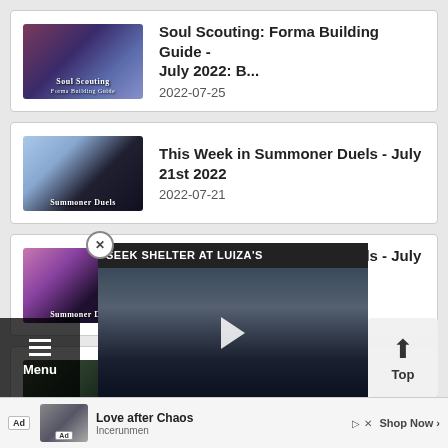Soul Scouting: Forma Building Guide - July 2022: B... — 2022-07-25
This Week in Summoner Duels - July 21st 2022 — 2022-07-21
This Week in Summoner Duels - July 7th 2022 — 2022-07-07
The Asgardr R... 2022 — 2022-07-03
[Figure (screenshot): Video overlay showing 'SEEK SHELTER AT LUIZA'S' with a play button, dark background with castle silhouette]
Menu
Top
[Figure (infographic): Ad banner: Love after Chaos - Incerunmen - Shop Now]